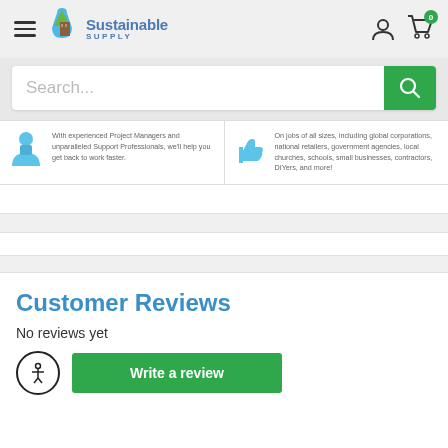Sustainable Supply — header navigation with hamburger menu, logo, user icon, and cart (0 items)
Search...
With experienced Project Managers and unparalleled Support Professionals, we'll help you get back to work faster.
On jobs of all sizes, including global corporations, national retailers, government agencies, local churches, schools, small businesses, contractors, DIYers, and more!
Customer Reviews
No reviews yet
Write a review